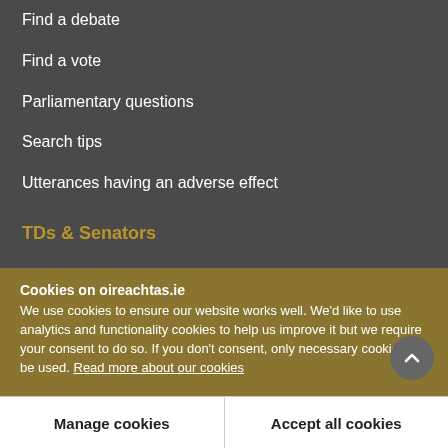Find a debate
Find a vote
Parliamentary questions
Search tips
Utterances having an adverse effect
TDs & Senators
Find a TD
Find a Senator
Office holders
Register of Members' interests
Cookies on oireachtas.ie
We use cookies to ensure our website works well. We'd like to use analytics and functionality cookies to help us improve it but we require your consent to do so. If you don't consent, only necessary cookies will be used. Read more about our cookies
Manage cookies
Accept all cookies